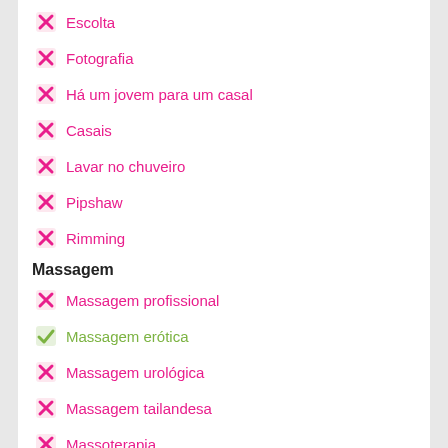Escolta
Fotografia
Há um jovem para um casal
Casais
Lavar no chuveiro
Pipshaw
Rimming
Massagem
Massagem profissional
Massagem erótica
Massagem urológica
Massagem tailandesa
Massoterapia
Massagem com quatro mãos
Massagem esportiva
Massagem relaxante
Filial de Sakura